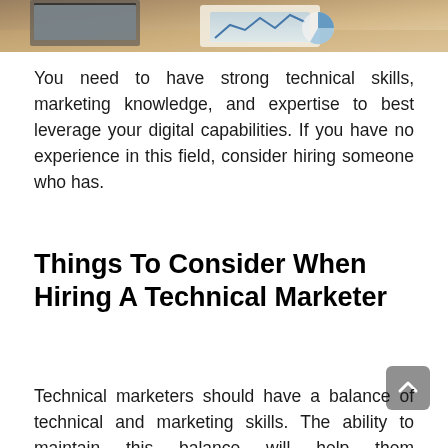[Figure (photo): Photo of a desk with papers and a laptop, partial view at top of page]
You need to have strong technical skills, marketing knowledge, and expertise to best leverage your digital capabilities. If you have no experience in this field, consider hiring someone who has.
Things To Consider When Hiring A Technical Marketer
Technical marketers should have a balance of technical and marketing skills. The ability to maintain this balance will help them communicate effectively with the business and the development